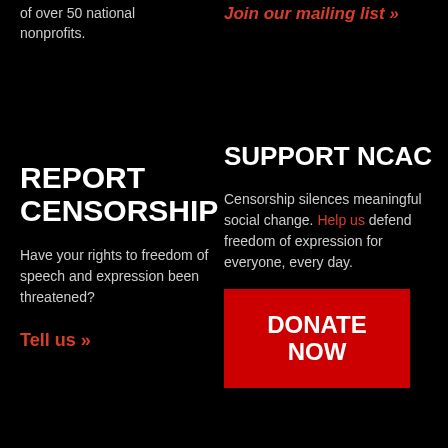of over 50 national nonprofits.
Join our mailing list »
REPORT CENSORSHIP
Have your rights to freedom of speech and expression been threatened?
Tell us »
SUPPORT NCAC
Censorship silences meaningful social change. Help us defend freedom of expression for everyone, every day.
DONATE NOW